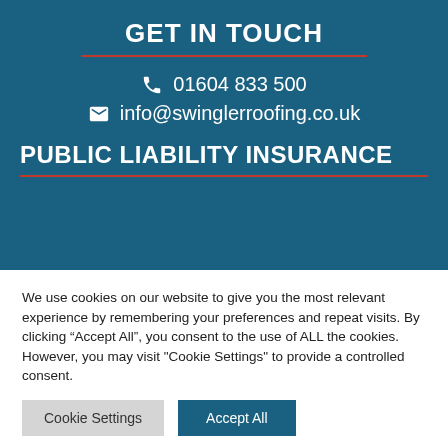GET IN TOUCH
01604 833 500
info@swinglerroofing.co.uk
PUBLIC LIABILITY INSURANCE
We use cookies on our website to give you the most relevant experience by remembering your preferences and repeat visits. By clicking “Accept All”, you consent to the use of ALL the cookies. However, you may visit "Cookie Settings" to provide a controlled consent.
Cookie Settings
Accept All